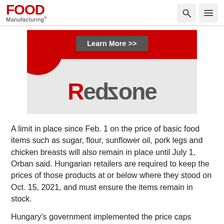FOOD Manufacturing
[Figure (illustration): Redzone advertisement banner with red background accent, dark 'Learn More >>' button, and large 'Redzone' logo text on light gray background]
A limit in place since Feb. 1 on the price of basic food items such as sugar, flour, sunflower oil, pork legs and chicken breasts will also remain in place until July 1, Orban said. Hungarian retailers are required to keep the prices of those products at or below where they stood on Oct. 15, 2021, and must ensure the items remain in stock.
Hungary's government implemented the price caps